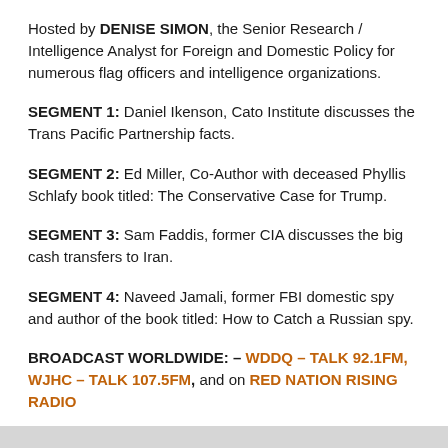Hosted by DENISE SIMON, the Senior Research / Intelligence Analyst for Foreign and Domestic Policy for numerous flag officers and intelligence organizations.
SEGMENT 1:  Daniel Ikenson, Cato Institute discusses the Trans Pacific Partnership facts.
SEGMENT 2:  Ed Miller, Co-Author with deceased Phyllis Schlafy book titled: The Conservative Case for Trump.
SEGMENT 3:  Sam Faddis, former CIA discusses the big cash transfers to Iran.
SEGMENT 4:  Naveed Jamali, former FBI domestic spy and author of the book titled: How to Catch a Russian spy.
BROADCAST WORLDWIDE:  – WDDQ – TALK 92.1FM, WJHC – TALK 107.5FM, and on RED NATION RISING RADIO